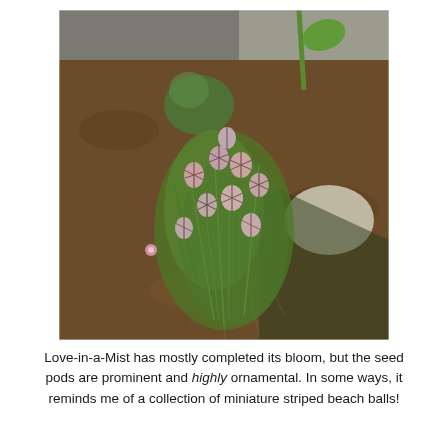[Figure (photo): A Love-in-a-Mist plant (Nigella) with feathery green foliage and numerous striped seed pods visible. The plant is growing in a garden bed with soil, mulch, gravel, and a stone visible. Other plants are in the background.]
Love-in-a-Mist has mostly completed its bloom, but the seed pods are prominent and highly ornamental. In some ways, it reminds me of a collection of miniature striped beach balls!